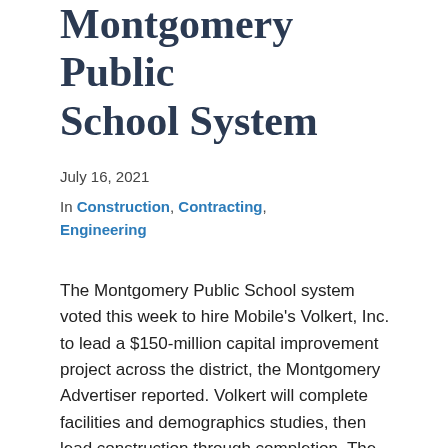Montgomery Public School System
July 16, 2021
In Construction, Contracting, Engineering
The Montgomery Public School system voted this week to hire Mobile's Volkert, Inc. to lead a $150-million capital improvement project across the district, the Montgomery Advertiser reported. Volkert will complete facilities and demographics studies, then lead construction through completion. The assessment of the district's schools will not only analyze which construction repairs might be